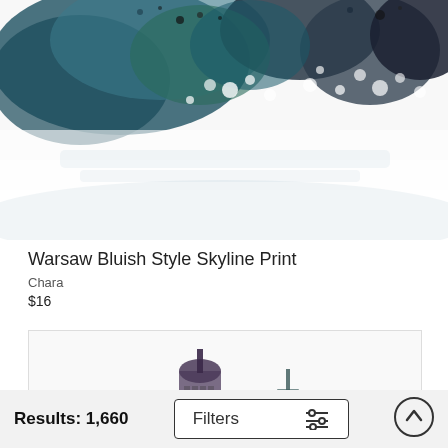[Figure (illustration): Watercolor abstract splash in teal, dark blue, black, and white colors — top portion of an art print product image]
Warsaw Bluish Style Skyline Print
Chara
$16
[Figure (illustration): Watercolor city skyline illustration with purple and teal tones showing buildings of various heights]
Results: 1,660
Filters